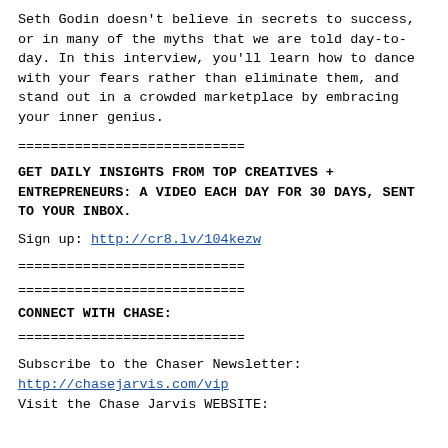Seth Godin doesn't believe in secrets to success, or in many of the myths that we are told day-to-day. In this interview, you'll learn how to dance with your fears rather than eliminate them, and stand out in a crowded marketplace by embracing your inner genius.
============================
GET DAILY INSIGHTS FROM TOP CREATIVES + ENTREPRENEURS: A VIDEO EACH DAY FOR 30 DAYS, SENT TO YOUR INBOX.
Sign up: http://cr8.lv/104kezw
============================
============================
CONNECT WITH CHASE:
============================
Subscribe to the Chaser Newsletter:
http://chasejarvis.com/vip
Visit the Chase Jarvis WEBSITE: